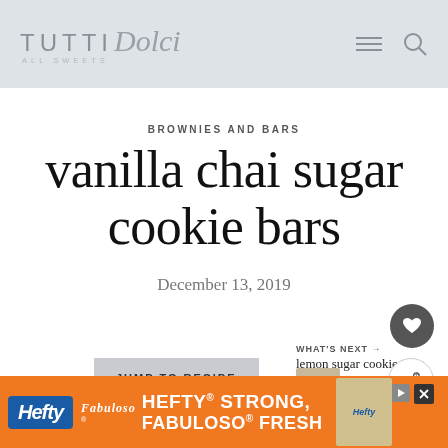TUTTI Dolci ALL SWEETS
BROWNIES AND BARS
vanilla chai sugar cookie bars
December 13, 2019
JUMP TO RECIPE
WHAT'S NEXT → lemon sugar cookie Bars
[Figure (screenshot): Advertisement banner for Hefty products: blue Hefty logo on left, bold white text reading 'HEFTY STRONG, FABULOSO FRESH' on orange background, Hefty product image on right, with close (X) button and play button. Fabuloso co-branding logo bottom left.]